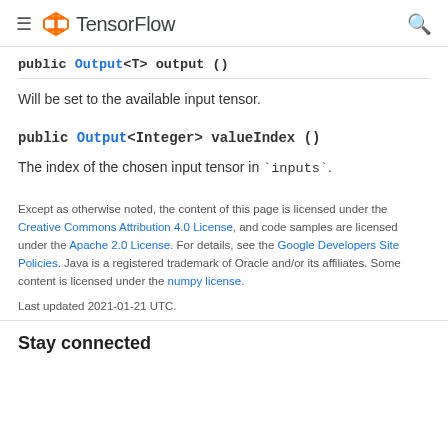TensorFlow
public Output<T> output ()
Will be set to the available input tensor.
public Output<Integer> valueIndex ()
The index of the chosen input tensor in `inputs`.
Except as otherwise noted, the content of this page is licensed under the Creative Commons Attribution 4.0 License, and code samples are licensed under the Apache 2.0 License. For details, see the Google Developers Site Policies. Java is a registered trademark of Oracle and/or its affiliates. Some content is licensed under the numpy license.
Last updated 2021-01-21 UTC.
Stay connected